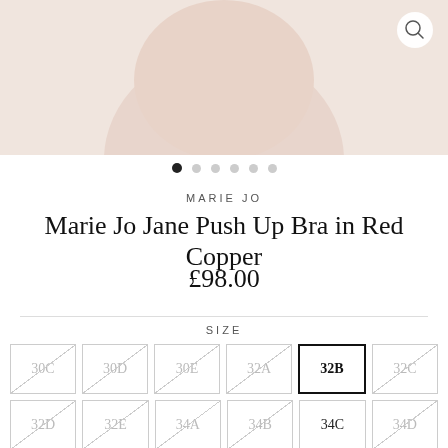[Figure (photo): Product image of Marie Jo Jane Push Up Bra in Red Copper on a model, cropped to torso area, light peachy-pink background]
MARIE JO
Marie Jo Jane Push Up Bra in Red Copper
£98.00
SIZE
| 30C | 30D | 30E | 32A | 32B | 32C |
| 32D | 32E | 34A | 34B | 34C | 34D |
| 34E | 36A | 36B | 36C | 36D | 36E |